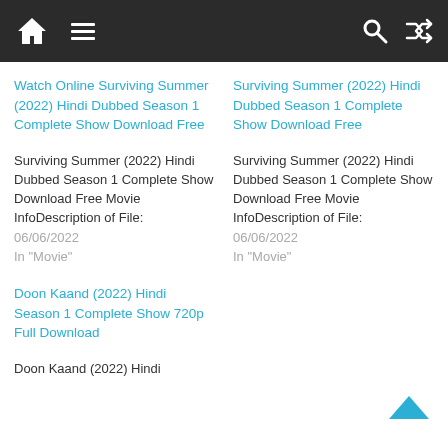Navigation bar with home, menu, search, shuffle icons
Watch Online Surviving Summer (2022) Hindi Dubbed Season 1 Complete Show Download Free
Surviving Summer (2022) Hindi Dubbed Season 1 Complete Show Download Free Movie InfoDescription of File: 06/06/2022 In "Movie"
Doon Kaand (2022) Hindi Season 1 Complete Show 720p Full Download
Doon Kaand (2022) Hindi
Surviving Summer (2022) Hindi Dubbed Season 1 Complete Show Download Free
Surviving Summer (2022) Hindi Dubbed Season 1 Complete Show Download Free Movie InfoDescription of File: 06/06/2022 In "Movie"